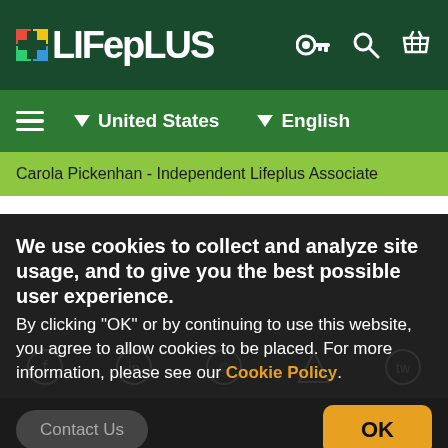Lifeplus logo navigation bar with key, search, and basket icons
United States  English navigation bar
Carola Pickenhan - Independent Lifeplus Associate
We use cookies to collect and analyze site usage, and to give you the best possible user experience. By clicking "OK" or by continuing to use this website, you agree to allow cookies to be placed. For more information, please see our Cookie Policy.
Contact Us
OK